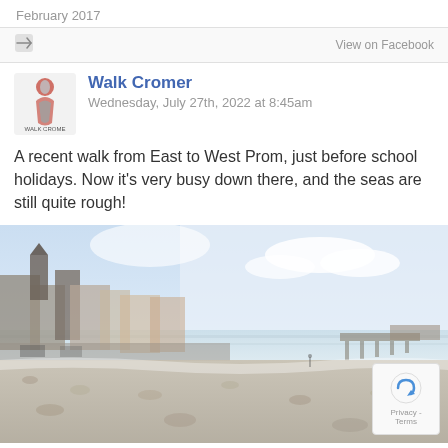February 2017
View on Facebook
Walk Cromer
Wednesday, July 27th, 2022 at 8:45am
A recent walk from East to West Prom, just before school holidays. Now it's very busy down there, and the seas are still quite rough!
[Figure (photo): A beach scene showing a pebble beach with calm waves, buildings and a church tower on the left, a pier in the middle distance, and a blue sky with light clouds above. Cromer seafront panorama viewed from the beach.]